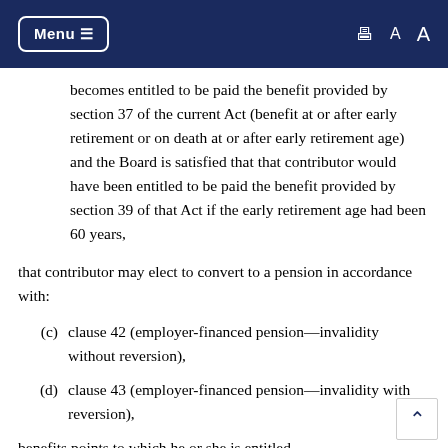Menu  [print icon] A A
becomes entitled to be paid the benefit provided by section 37 of the current Act (benefit at or after early retirement or on death at or after early retirement age) and the Board is satisfied that that contributor would have been entitled to be paid the benefit provided by section 39 of that Act if the early retirement age had been 60 years,
that contributor may elect to convert to a pension in accordance with:
(c)  clause 42 (employer-financed pension—invalidity without reversion),
(d)  clause 43 (employer-financed pension—invalidity with reversion),
benefits points to which he or she is entitled